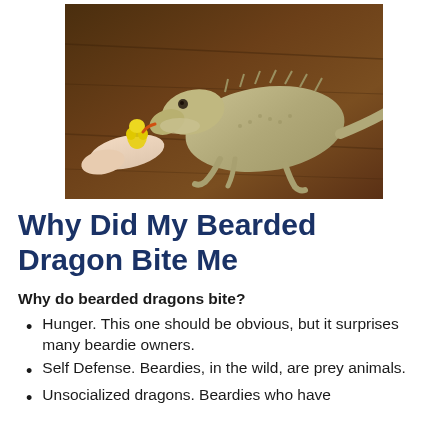[Figure (photo): A bearded dragon lizard leaning forward to eat a yellow gummy bear held by a person's finger, resting on a wooden surface.]
Why Did My Bearded Dragon Bite Me
Why do bearded dragons bite?
Hunger. This one should be obvious, but it surprises many beardie owners.
Self Defense. Beardies, in the wild, are prey animals.
Unsocialized dragons. Beardies who have